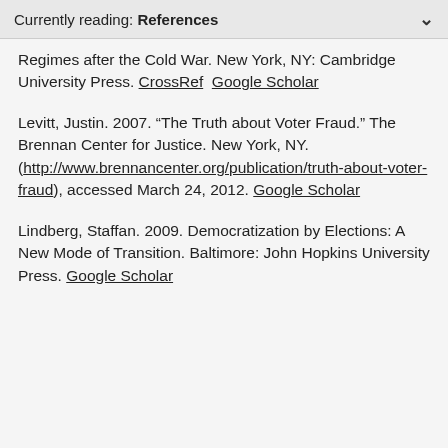Currently reading: References
Regimes after the Cold War. New York, NY: Cambridge University Press. CrossRef  Google Scholar
Levitt, Justin. 2007. “The Truth about Voter Fraud.” The Brennan Center for Justice. New York, NY. (http://www.brennancenter.org/publication/truth-about-voter-fraud), accessed March 24, 2012. Google Scholar
Lindberg, Staffan. 2009. Democratization by Elections: A New Mode of Transition. Baltimore: John Hopkins University Press. Google Scholar